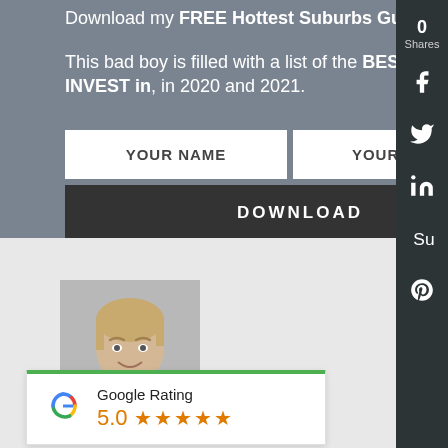Download my FREE Hottest Suburbs Guide.
This bad boy is filled with a list of the BEST SUBURBS to INVEST in, in 2020 and 2021.
[Figure (screenshot): Web form with YOUR NAME and YOUR EMAIL input fields and a DOWNLOAD button]
[Figure (screenshot): Social sharing sidebar with 0 Shares, Facebook, Twitter, LinkedIn, Stumbleupon, Pinterest icons]
[Figure (photo): Partial photo of a person (head and shoulders) on a grey background]
[Figure (infographic): Google Rating card showing 5.0 stars with five orange stars and green top border]